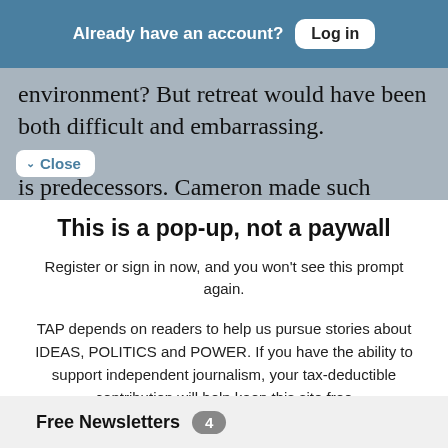Already have an account?  Log in
environment?  But retreat would have been both difficult and embarrassing.
✓ Close
is predecessors. Cameron made such
This is a pop-up, not a paywall
Register or sign in now, and you won't see this prompt again.
TAP depends on readers to help us pursue stories about IDEAS, POLITICS and POWER. If you have the ability to support independent journalism, your tax-deductible contribution will help keep this site free
Free Newsletters  4